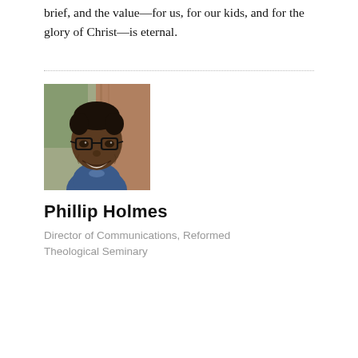brief, and the value—for us, for our kids, and for the glory of Christ—is eternal.
[Figure (photo): Headshot of Phillip Holmes, a smiling man wearing glasses and a blue sweater, photographed outdoors with a blurred green and wood-tone background.]
Phillip Holmes
Director of Communications, Reformed Theological Seminary
This book is a gift to the church, specifically parents who desire to pray over their children frequently. Before, we prayed the same